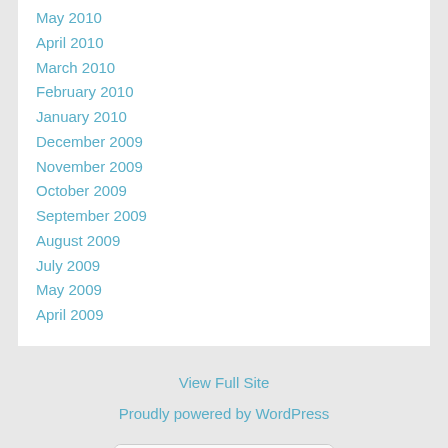May 2010
April 2010
March 2010
February 2010
January 2010
December 2009
November 2009
October 2009
September 2009
August 2009
July 2009
May 2009
April 2009
View Full Site
Proudly powered by WordPress
SITE SECURED BY s2Member® VERIFED 08/20/22
www.KRECI.NET